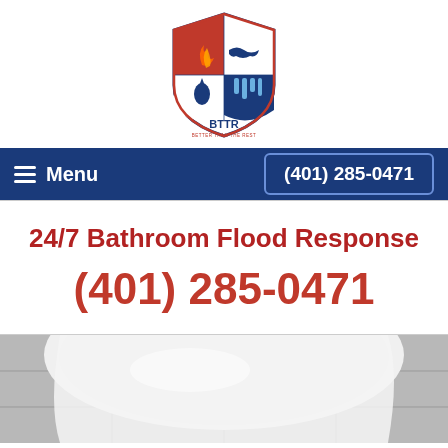[Figure (logo): BTTR (Better Than The Rest) shield logo with red flame, blue water wave, water drop, and icicles, in red, white, and blue colors]
Menu  (401) 285-0471
24/7 Bathroom Flood Response
(401) 285-0471
[Figure (photo): Close-up photo of a white toilet on gray tile floor, viewed from above/side angle]